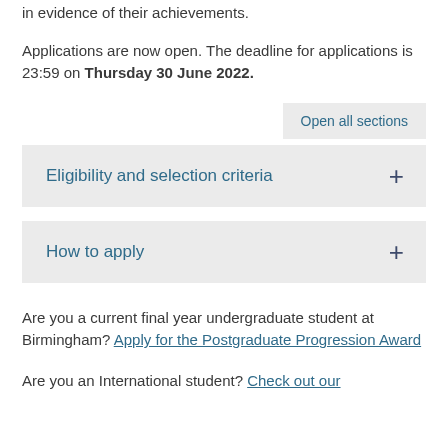in evidence of their achievements.
Applications are now open. The deadline for applications is 23:59 on Thursday 30 June 2022.
Open all sections
Eligibility and selection criteria
How to apply
Are you a current final year undergraduate student at Birmingham? Apply for the Postgraduate Progression Award
Are you an International student? Check out our